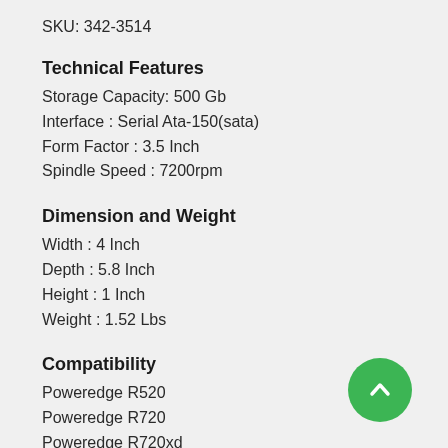SKU: 342-3514
Technical Features
Storage Capacity: 500 Gb
Interface : Serial Ata-150(sata)
Form Factor : 3.5 Inch
Spindle Speed : 7200rpm
Dimension and Weight
Width : 4 Inch
Depth : 5.8 Inch
Height : 1 Inch
Weight : 1.52 Lbs
Compatibility
Poweredge R520
Poweredge R720
Poweredge R720xd
Poweredge T420
Poweredge T620